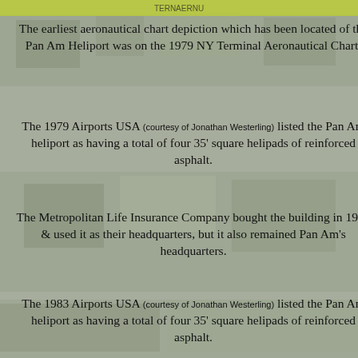[Figure (photo): Faded background photo of buildings and foliage throughout the page]
The earliest aeronautical chart depiction which has been located of the Pan Am Heliport was on the 1979 NY Terminal Aeronautical Chart.
The 1979 Airports USA (courtesy of Jonathan Westerling) listed the Pan Am heliport as having a total of four 35' square helipads of reinforced asphalt.
The Metropolitan Life Insurance Company bought the building in 1981 & used it as their headquarters, but it also remained Pan Am's headquarters.
The 1983 Airports USA (courtesy of Jonathan Westerling) listed the Pan Am heliport as having a total of four 35' square helipads of reinforced asphalt.